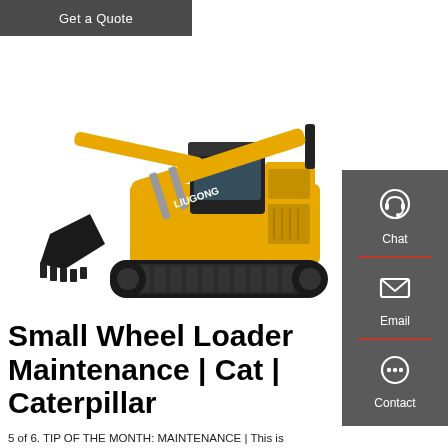Get a Quote
[Figure (photo): Yellow LiuGong excavator with black tracks and bucket arm, shown in side profile on white background]
[Figure (infographic): Gray sidebar panel with Chat, Email, and Contact icons and labels, separated by red horizontal dividers]
Small Wheel Loader Maintenance | Cat | Caterpillar
5 of 6. TIP OF THE MONTH: MAINTENANCE | This is